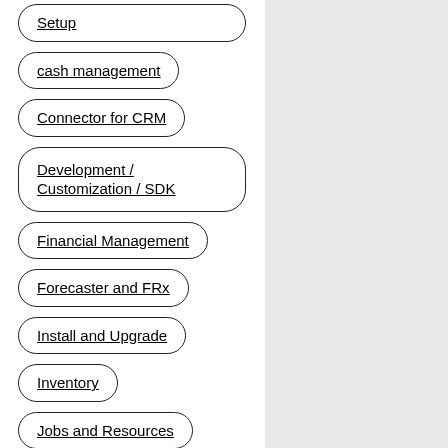Setup
cash management
Connector for CRM
Development / Customization / SDK
Financial Management
Forecaster and FRx
Install and Upgrade
Inventory
Jobs and Resources